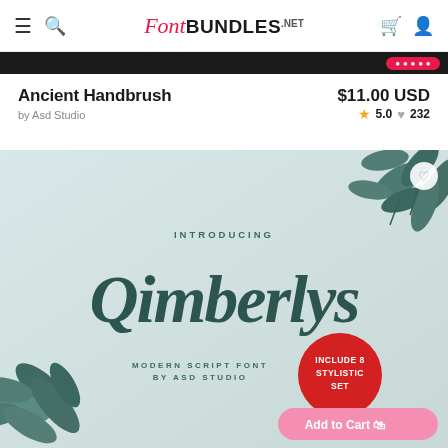FontBundles.net
Ancient Handbrush
$11.00 USD
by Asd Studio
★ 5.0  ♥ 232
[Figure (illustration): Font product preview image showing script font named 'Qimberlys' - Modern Script Font by ASD Studio, with botanical leaf decorations, a red badge saying 'INCLUDE 8 STYLISTIC SET', and a pink 'Add to Cart' button.]